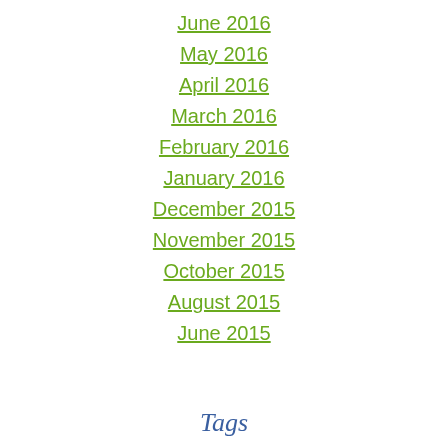June 2016
May 2016
April 2016
March 2016
February 2016
January 2016
December 2015
November 2015
October 2015
August 2015
June 2015
Tags